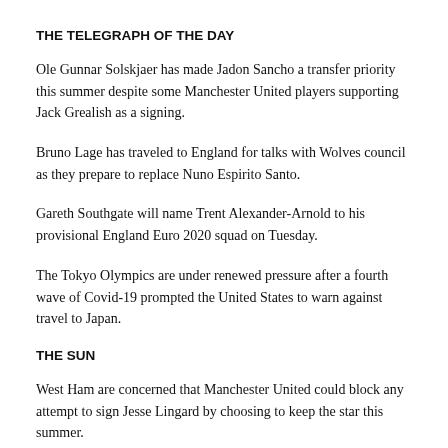THE TELEGRAPH OF THE DAY
Ole Gunnar Solskjaer has made Jadon Sancho a transfer priority this summer despite some Manchester United players supporting Jack Grealish as a signing.
Bruno Lage has traveled to England for talks with Wolves council as they prepare to replace Nuno Espirito Santo.
Gareth Southgate will name Trent Alexander-Arnold to his provisional England Euro 2020 squad on Tuesday.
The Tokyo Olympics are under renewed pressure after a fourth wave of Covid-19 prompted the United States to warn against travel to Japan.
THE SUN
West Ham are concerned that Manchester United could block any attempt to sign Jesse Lingard by choosing to keep the star this summer.